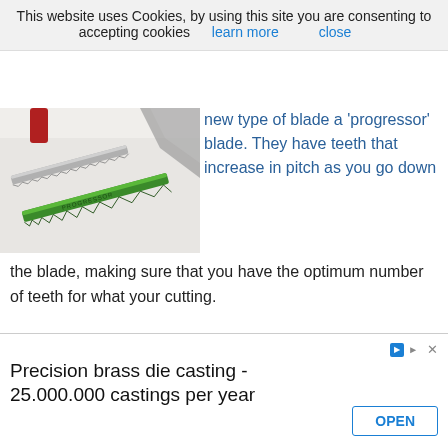This website uses Cookies, by using this site you are consenting to accepting cookies learn more close
[Figure (photo): Photo of jigsaw blades on a white surface — a grey metal blade and a green 'progressor' blade with variable-pitch teeth]
new type of blade a 'progressor' blade. They have teeth that increase in pitch as you go down the blade, making sure that you have the optimum number of teeth for what your cutting.
Other ways
There are many other ways to cut metal, depending on the job in hand. Material, accuracy and cost can affect the choice open to you. Other tools that can be used, but generally reserved for the professional or
re bandsaws, orbital tube cutters, cold cut chop saws, and a whole
[Figure (other): Advertisement banner: Precision brass die casting - 25.000.000 castings per year, with OPEN button]